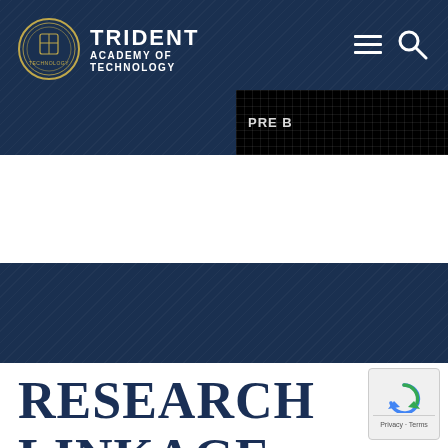[Figure (logo): Trident Academy of Technology logo — circular crest with navigation hamburger menu and search icon on dark navy header]
TRIDENT ACADEMY OF TECHNOLOGY
[Figure (photo): Corrupted/partially loaded dark image with grid lines and text 'PRE B' visible, positioned at top right of header]
RESEARCH LINKAGE